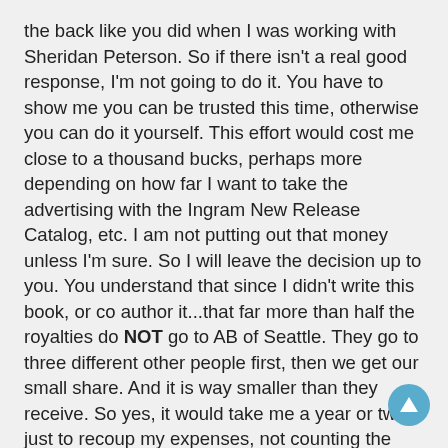the back like you did when I was working with Sheridan Peterson. So if there isn't a real good response, I'm not going to do it. You have to show me you can be trusted this time, otherwise you can do it yourself. This effort would cost me close to a thousand bucks, perhaps more depending on how far I want to take the advertising with the Ingram New Release Catalog, etc. I am not putting out that money unless I'm sure. So I will leave the decision up to you. You understand that since I didn't write this book, or co author it...that far more than half the royalties do NOT go to AB of Seattle. They go to three different other people first, then we get our small share. And it is way smaller than they receive. So yes, it would take me a year or two just to recoup my expenses, not counting the rather difficult work involved in republishing at least to the standards of the original. This shit is not easy, folks.